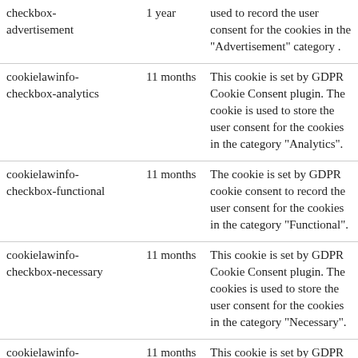| checkbox-advertisement | 1 year | used to record the user consent for the cookies in the "Advertisement" category . |
| cookielawinfo-checkbox-analytics | 11 months | This cookie is set by GDPR Cookie Consent plugin. The cookie is used to store the user consent for the cookies in the category "Analytics". |
| cookielawinfo-checkbox-functional | 11 months | The cookie is set by GDPR cookie consent to record the user consent for the cookies in the category "Functional". |
| cookielawinfo-checkbox-necessary | 11 months | This cookie is set by GDPR Cookie Consent plugin. The cookies is used to store the user consent for the cookies in the category "Necessary". |
| cookielawinfo-checkbox-others | 11 months | This cookie is set by GDPR Cookie Consent plugin. The cookie is used to store the user consent for the cookies in the category "Other. |
| cookielawinfo- | 11 | This cookie is set by GDPR Cookie Consent plugin. The |